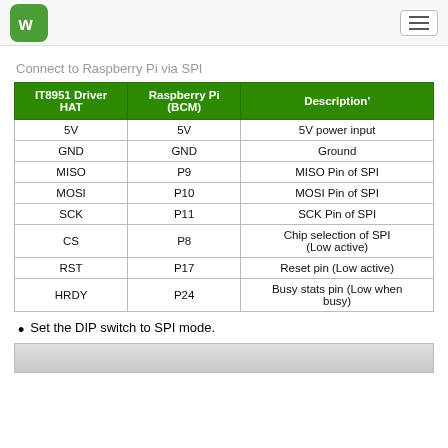Waveshare logo and navigation
Connect to Raspberry Pi via SPI
| IT8951 Driver HAT | Raspberry Pi (BCM) | Description' |
| --- | --- | --- |
| 5V | 5V | 5V power input |
| GND | GND | Ground |
| MISO | P9 | MISO Pin of SPI |
| MOSI | P10 | MOSI Pin of SPI |
| SCK | P11 | SCK Pin of SPI |
| CS | P8 | Chip selection of SPI (Low active) |
| RST | P17 | Reset pin (Low active) |
| HRDY | P24 | Busy stats pin (Low when busy) |
Set the DIP switch to SPI mode.
[Figure (photo): Photo of hardware showing DIP switch configuration]